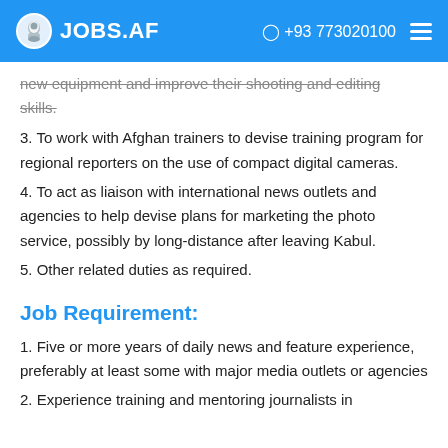JOBS.AF  +93 773020100
new equipment and improve their shooting and editing skills.
3. To work with Afghan trainers to devise training program for regional reporters on the use of compact digital cameras.
4. To act as liaison with international news outlets and agencies to help devise plans for marketing the photo service, possibly by long-distance after leaving Kabul.
5. Other related duties as required.
Job Requirement:
1. Five or more years of daily news and feature experience, preferably at least some with major media outlets or agencies
2. Experience training and mentoring journalists in